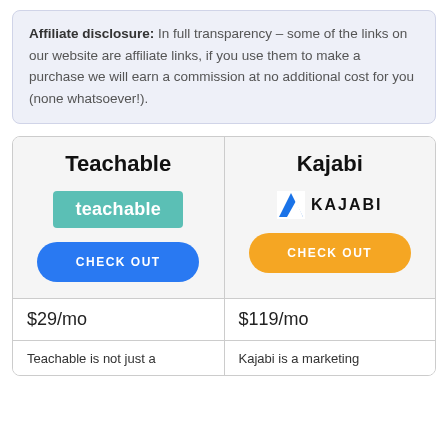Affiliate disclosure: In full transparency – some of the links on our website are affiliate links, if you use them to make a purchase we will earn a commission at no additional cost for you (none whatsoever!).
| Teachable | Kajabi |
| --- | --- |
| [teachable logo] | [Kajabi logo] |
| CHECK OUT | CHECK OUT |
| $29/mo | $119/mo |
| Teachable is not just a | Kajabi is a marketing |